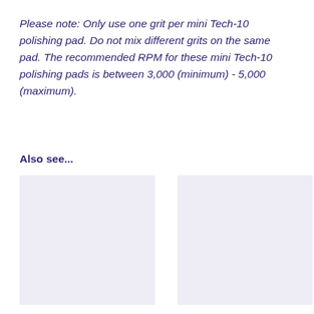Please note: Only use one grit per mini Tech-10 polishing pad. Do not mix different grits on the same pad. The recommended RPM for these mini Tech-10 polishing pads is between 3,000 (minimum) - 5,000 (maximum).
Also see...
[Figure (photo): Placeholder image box (lavender/light purple background), left of two side-by-side related product images]
[Figure (photo): Placeholder image box (lavender/light purple background), right of two side-by-side related product images]